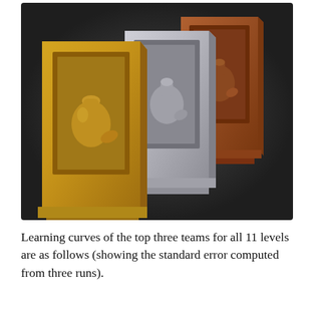[Figure (photo): Three award plaques arranged in a row — gold (foreground left), silver (center), and bronze (background right) — each depicting a potion bottle relief on a framed block with a pedestal base, set against a dark background.]
Learning curves of the top three teams for all 11 levels are as follows (showing the standard error computed from three runs).